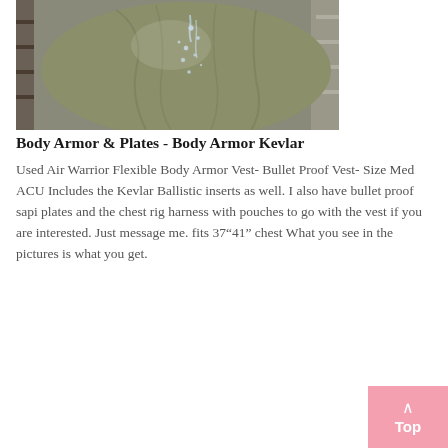[Figure (photo): Close-up photo of a person wearing an olive/khaki colored flexible body armor vest, with water droplets visible on the surface. Background shows shelves or racks.]
Body Armor & Plates - Body Armor Kevlar
Used Air Warrior Flexible Body Armor Vest- Bullet Proof Vest- Size Med ACU Includes the Kevlar Ballistic inserts as well. I also have bullet proof sapi plates and the chest rig harness with pouches to go with the vest if you are interested. Just message me. fits 37"41" chest What you see in the pictures is what you get.